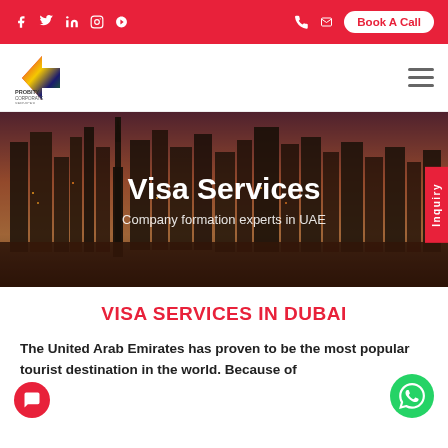f  in  p  [phone] [email]  Book A Call
[Figure (logo): Probity Corporate Services logo with colorful arrow icon]
[Figure (photo): Dubai skyline at sunset with skyscrapers and waterfront, used as hero banner background]
Visa Services
Company formation experts in UAE
VISA SERVICES IN DUBAI
The United Arab Emirates has proven to be the most popular tourist destination in the world. Because of